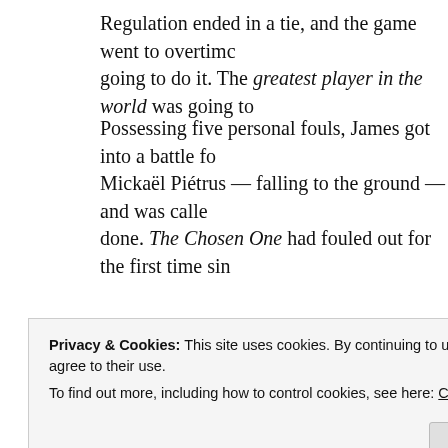Regulation ended in a tie, and the game went to overtime going to do it. The greatest player in the world was going to
Possessing five personal fouls, James got into a battle fo Mickaël Piétrus — falling to the ground — and was calle done. The Chosen One had fouled out for the first time sin
[Figure (screenshot): Advertisement banner: ThePlatform Where WordPress Works Best with logo]
[Figure (photo): Sports photo showing basketball players, partial view]
Privacy & Cookies: This site uses cookies. By continuing to use this website, you agree to their use.
To find out more, including how to control cookies, see here: Cookie Policy
Close and accept